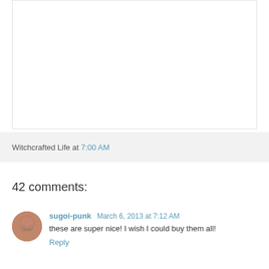[Figure (photo): White empty image box with border]
Witchcrafted Life at 7:00 AM
42 comments:
[Figure (photo): Avatar of user sugoi-punk, a woman with reddish hair]
sugoi-punk March 6, 2013 at 7:12 AM
these are super nice! I wish I could buy them all!
Reply